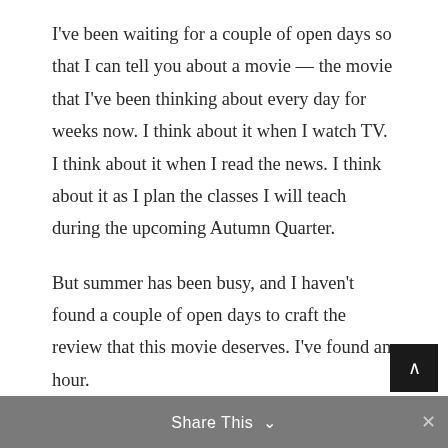I've been waiting for a couple of open days so that I can tell you about a movie — the movie that I've been thinking about every day for weeks now. I think about it when I watch TV. I think about it when I read the news. I think about it as I plan the classes I will teach during the upcoming Autumn Quarter.
But summer has been busy, and I haven't found a couple of open days to craft the review that this movie deserves. I've found an hour.
So I'm just going to write as fast as I can, sharing a rush of thoughts as they come to me.
First, I need to tell you a story.
Share This ∨